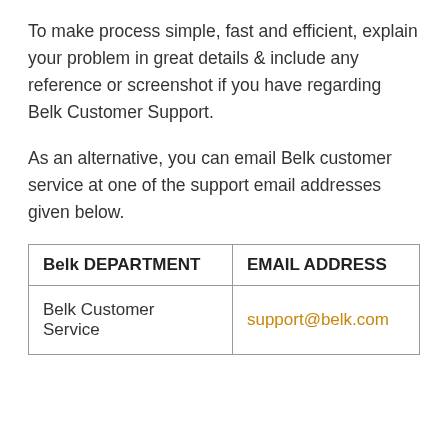To make process simple, fast and efficient, explain your problem in great details & include any reference or screenshot if you have regarding Belk Customer Support.
As an alternative, you can email Belk customer service at one of the support email addresses given below.
| Belk DEPARTMENT | EMAIL ADDRESS |
| --- | --- |
| Belk Customer Service | support@belk.com |